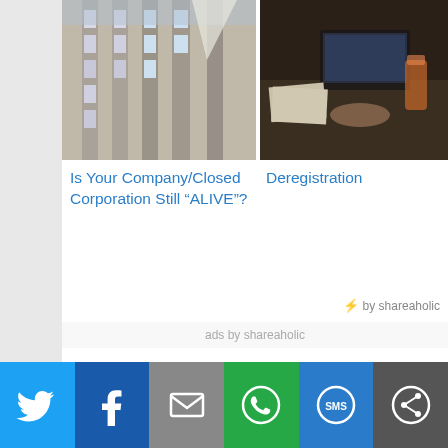[Figure (photo): Photo of building facade viewed from below, architectural upward angle]
[Figure (photo): Photo of person working at desk with laptop, documents and drinks]
Is Your Company/Closed Corporation Still “ALIVE”?
Deregistration
by shareaholic
ads by shareaholic
Page Index
About Us
Our Services
Advising and Registration of Companies